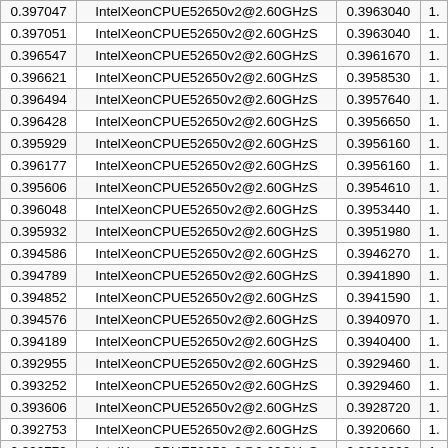| 0.397047 | IntelXeonCPUE52650v2@2.60GHzS | 0.3963040 | 1. |
| 0.397051 | IntelXeonCPUE52650v2@2.60GHzS | 0.3963040 | 1. |
| 0.396547 | IntelXeonCPUE52650v2@2.60GHzS | 0.3961670 | 1. |
| 0.396621 | IntelXeonCPUE52650v2@2.60GHzS | 0.3958530 | 1. |
| 0.396494 | IntelXeonCPUE52650v2@2.60GHzS | 0.3957640 | 1. |
| 0.396428 | IntelXeonCPUE52650v2@2.60GHzS | 0.3956650 | 1. |
| 0.395929 | IntelXeonCPUE52650v2@2.60GHzS | 0.3956160 | 1. |
| 0.396177 | IntelXeonCPUE52650v2@2.60GHzS | 0.3956160 | 1. |
| 0.395606 | IntelXeonCPUE52650v2@2.60GHzS | 0.3954610 | 1. |
| 0.396048 | IntelXeonCPUE52650v2@2.60GHzS | 0.3953440 | 1. |
| 0.395932 | IntelXeonCPUE52650v2@2.60GHzS | 0.3951980 | 1. |
| 0.394586 | IntelXeonCPUE52650v2@2.60GHzS | 0.3946270 | 1. |
| 0.394789 | IntelXeonCPUE52650v2@2.60GHzS | 0.3941890 | 1. |
| 0.394852 | IntelXeonCPUE52650v2@2.60GHzS | 0.3941590 | 1. |
| 0.394576 | IntelXeonCPUE52650v2@2.60GHzS | 0.3940970 | 1. |
| 0.394189 | IntelXeonCPUE52650v2@2.60GHzS | 0.3940400 | 1. |
| 0.392955 | IntelXeonCPUE52650v2@2.60GHzS | 0.3929460 | 1. |
| 0.393252 | IntelXeonCPUE52650v2@2.60GHzS | 0.3929460 | 1. |
| 0.393606 | IntelXeonCPUE52650v2@2.60GHzS | 0.3928720 | 1. |
| 0.392753 | IntelXeonCPUE52650v2@2.60GHzS | 0.3920660 | 1. |
| 0.392779 | IntelXeonCPUE52650v2@2.60GHzS | 0.3920300 | 1. |
| 0.394895 | IntelXeonCPUE52650v2@2.60GHzS | 0.3917890 | 1. |
| 0.392816 | IntelXeonCPUE52650v2@2.60GHzS | 0.3916550 | 1. |
| 0.392306 | IntelXeonCPUE52650v2@2.60GHzS | 0.3916480 | 1. |